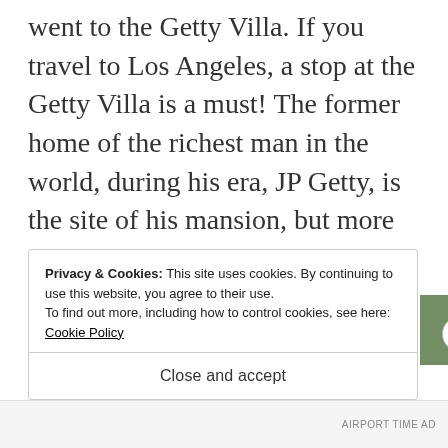went to the Getty Villa. If you travel to Los Angeles, a stop at the Getty Villa is a must! The former home of the richest man in the world, during his era, JP Getty, is the site of his mansion, but more importantly, a recreation of an antediluvian Roman villa. The location of the initially Getty Museum now explores over 4,000 years of ancient art from the stone age to the end of the Roman Empire.
Privacy & Cookies: This site uses cookies. By continuing to use this website, you agree to their use.
To find out more, including how to control cookies, see here: Cookie Policy
Close and accept